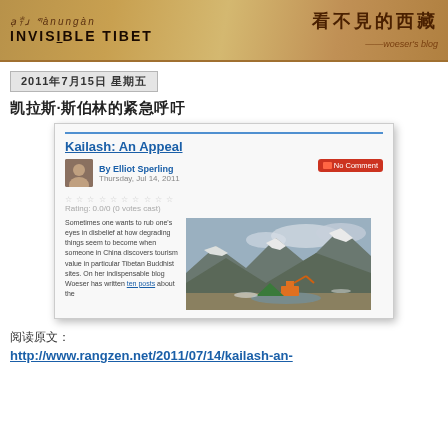[Figure (screenshot): Invisible Tibet blog banner with Tibetan script, Chinese characters 看不見的西藏, and text INVISIBLE TIBET — woeser's blog]
2011年7月15日 星期五
凯拉斯·斯伯林的紧急呼吁
[Figure (screenshot): Screenshot of rangzen.net article: Kailash: An Appeal by Elliot Sperling, Thursday Jul 14 2011, with mountain photo showing construction equipment near Mt Kailash]
阅读原文：
http://www.rangzen.net/2011/07/14/kailash-an-